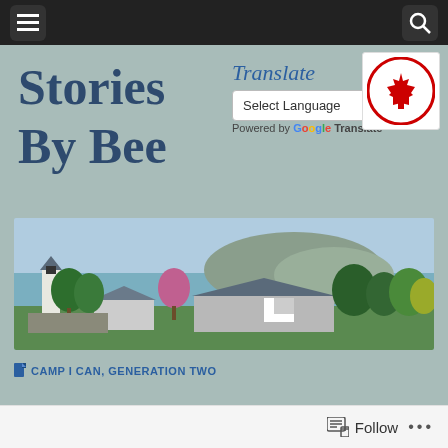Navigation bar with menu and search icons
Stories By Bee
Translate
Select Language
Powered by Google Translate
[Figure (logo): Canadian flag circular logo with red maple leaf on white background with red border]
[Figure (photo): Banner image of a Sims 3 game scene showing houses, trees, a lighthouse, and water with mountains in the background]
CAMP I CAN, GENERATION TWO
Follow ...